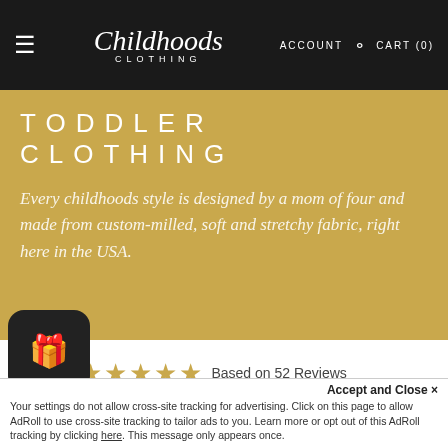≡  Childhoods CLOTHING  ACCOUNT  🔍  CART (0)
TODDLER CLOTHING
Every childhoods style is designed by a mom of four and made from custom-milled, soft and stretchy fabric, right here in the USA.
5.0 ★★★★★ Based on 52 Reviews
★★★★★ (52)
★★★★☆ (0)
Your settings do not allow cross-site tracking for advertising. Click on this page to allow AdRoll to use cross-site tracking to tailor ads to you. Learn more or opt out of this AdRoll tracking by clicking here. This message only appears once.